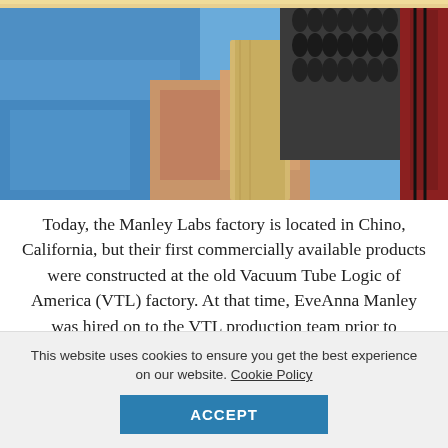[Figure (photo): Close-up photo of a person in a blue sweater working with audio equipment or electronic components at a factory workstation.]
Today, the Manley Labs factory is located in Chino, California, but their first commercially available products were constructed at the old Vacuum Tube Logic of America (VTL) factory. At that time, EveAnna Manley was hired on to the VTL production team prior to Manley's first professional products (Manley Enhanced Pultec, Manley Reference Cardioid, and Reference Gold). In 1993, Manley Laboratories, Inc. became a separate entity apart
This website uses cookies to ensure you get the best experience on our website. Cookie Policy
ACCEPT